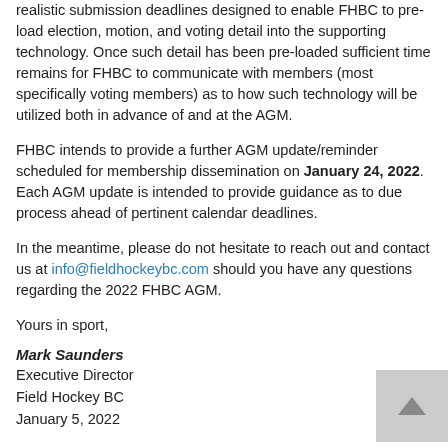realistic submission deadlines designed to enable FHBC to pre-load election, motion, and voting detail into the supporting technology. Once such detail has been pre-loaded sufficient time remains for FHBC to communicate with members (most specifically voting members) as to how such technology will be utilized both in advance of and at the AGM.
FHBC intends to provide a further AGM update/reminder scheduled for membership dissemination on January 24, 2022. Each AGM update is intended to provide guidance as to due process ahead of pertinent calendar deadlines.
In the meantime, please do not hesitate to reach out and contact us at info@fieldhockeybc.com should you have any questions regarding the 2022 FHBC AGM.
Yours in sport,
Mark Saunders
Executive Director
Field Hockey BC
January 5, 2022